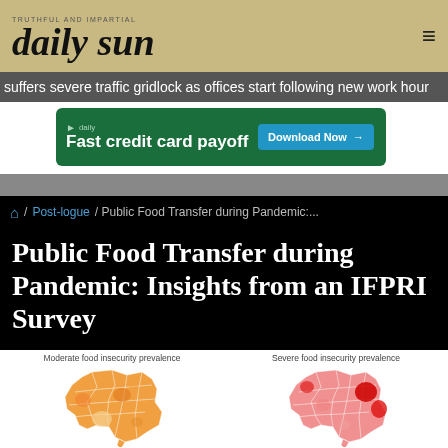daily sun
suffers severe traffic gridlock as offices start following new work hour
[Figure (screenshot): Green advertisement banner: 'Fast credit card payoff' with 'Download Now' button]
/ Post-logue / Public Food Transfer during Pandemic:...
Public Food Transfer during Pandemic: Insights from an IFPRI Survey
[Figure (map): Two choropleth maps of Bangladesh showing Moderate food insecurity prevalence (left, orange hues) and Severe food insecurity prevalence (right, red hues)]